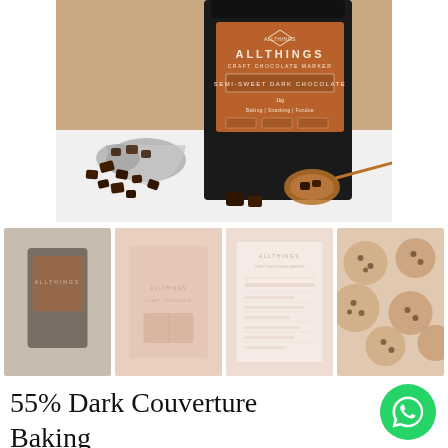[Figure (photo): Main product photo: AllThings Craft Chocolate Marker semi-sweet dark chocolate bag (black with copper/kraft label) standing upright with a metal cup of chocolate chunks spilled in front and a copper measuring spoon with chocolate pieces on the right, on a white surface against a tan/brown background.]
[Figure (photo): Thumbnail 1: Faded/muted photo of the AllThings chocolate product bag on a neutral background.]
[Figure (photo): Thumbnail 2: Faded peach/blush image of a chocolate bar wrapper or card with AllThings branding text.]
[Figure (photo): Thumbnail 3: Faded light pink/beige image showing AllThings nutrition facts or information card.]
[Figure (photo): Thumbnail 4: Faded photo of chocolate chip cookies from above.]
55% Dark Couverture Baking Chocolate